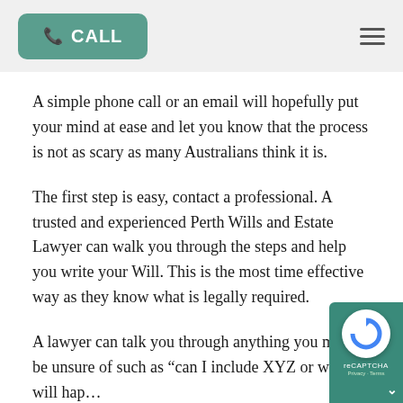CALL [button] | hamburger menu
A simple phone call or an email will hopefully put your mind at ease and let you know that the process is not as scary as many Australians think it is.
The first step is easy, contact a professional. A trusted and experienced Perth Wills and Estate Lawyer can walk you through the steps and help you write your Will. This is the most time effective way as they know what is legally required.
A lawyer can talk you through anything you might be unsure of such as “can I include XYZ or what will happen to my pets when I die?” Never be afraid to ask questions, this is how you can ensure your Will suits your needs